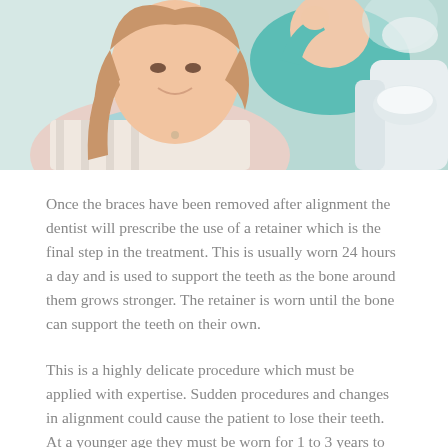[Figure (photo): A young woman patient in a dental chair smiling, with a dental professional in teal scrubs visible in the background. Dental equipment visible on the right side.]
Once the braces have been removed after alignment the dentist will prescribe the use of a retainer which is the final step in the treatment. This is usually worn 24 hours a day and is used to support the teeth as the bone around them grows stronger. The retainer is worn until the bone can support the teeth on their own.
This is a highly delicate procedure which must be applied with expertise. Sudden procedures and changes in alignment could cause the patient to lose their teeth. At a younger age they must be worn for 1 to 3 years to straighten teeth.
There are however many facilities that provide treatment over a shorter duration. Make sure to opt for a highly qualified and